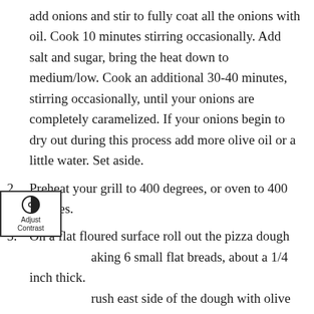add onions and stir to fully coat all the onions with oil. Cook 10 minutes stirring occasionally. Add salt and sugar, bring the heat down to medium/low. Cook an additional 30-40 minutes, stirring occasionally, until your onions are completely caramelized. If your onions begin to dry out during this process add more olive oil or a little water. Set aside.
2. Preheat your grill to 400 degrees, or oven to 400 degrees.
3. On a flat floured surface roll out the pizza dough making 6 small flat breads, about a 1/4 inch thick. Brush east side of the dough with olive oil and grill flatbreads on a pizza stone until just barley cooked, pull off and let cool 5 minutes.
4. Once cooled rub half a garlic clove over each side of the flatbreads and brush with olive oil. Add...